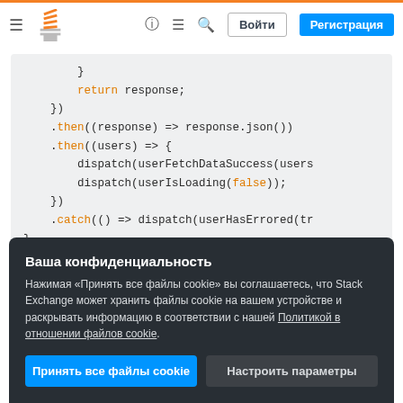Stack Overflow navigation bar with hamburger menu, logo, help, chat, search icons, Login and Registration buttons
[Figure (screenshot): Code block showing JavaScript promise chain with return response, .then((response) => response.json()), .then((users) => { dispatch(userFetchDataSuccess(users)), dispatch(userIsLoading(false)); }), .catch(() => dispatch(userHasErrored(tr]
}
Ваша конфиденциальность
Нажимая «Принять все файлы cookie» вы соглашаетесь, что Stack Exchange может хранить файлы cookie на вашем устройстве и раскрывать информацию в соответствии с нашей Политикой в отношении файлов cookie.
Принять все файлы cookie | Настроить параметры